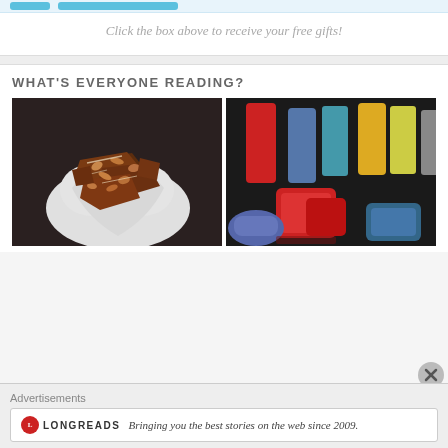Click the box above to receive your free gifts!
WHAT'S EVERYONE READING?
[Figure (photo): Photo of chocolate bark with nuts on a white heart-shaped plate on a dark surface]
[Figure (photo): Photo of colorful silicone ice pop molds and ice cube trays in red, blue, yellow, and gray]
Advertisements
[Figure (logo): Longreads logo with red circle containing L and the text LONGREADS]
Bringing you the best stories on the web since 2009.